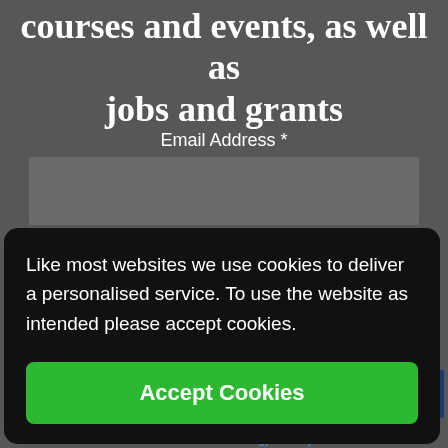courses and events, as well as jobs and grants
Email Address *
First Name
Like most websites we use cookies to deliver a personalised service. To use the website as intended please accept cookies.
Accept Cookies
RIBE
The Nautical Archaeology Society